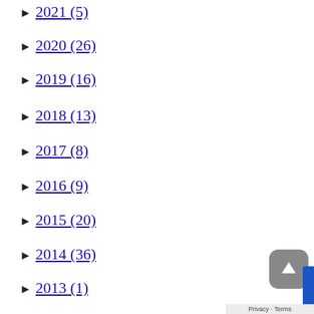► 2021 (5)
► 2020 (26)
► 2019 (16)
► 2018 (13)
► 2017 (8)
► 2016 (9)
► 2015 (20)
► 2014 (36)
► 2013 (1)